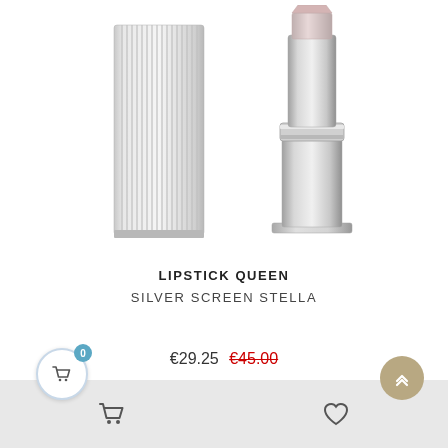[Figure (photo): Two silver lipstick components: one closed ribbed/fluted rectangular case and one open tube showing the lipstick bullet and chrome base, photographed on white background]
LIPSTICK QUEEN
SILVER SCREEN STELLA
€29.25 €45.00